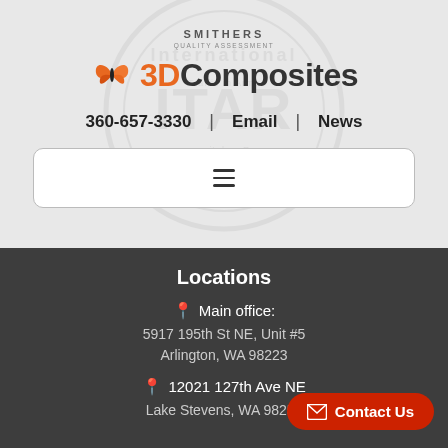[Figure (logo): 3D Composites butterfly logo with company name, Smithers Quality Assurance watermark in background]
360-657-3330  |  Email  |  News
[Figure (other): Navigation menu hamburger button in white rounded rectangle]
Locations
Main office: 5917 195th St NE, Unit #5 Arlington, WA 98223
12021 127th Ave NE Lake Stevens, WA 98258
Contact Us